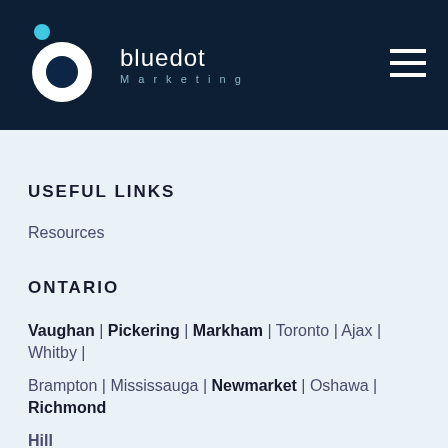[Figure (logo): Bluedot Marketing logo with concentric circles (cyan, white, dark blue) and company name]
USEFUL LINKS
Resources
ONTARIO
Vaughan | Pickering | Markham | Toronto | Ajax | Whitby |
Brampton | Mississauga | Newmarket | Oshawa | Richmond Hill